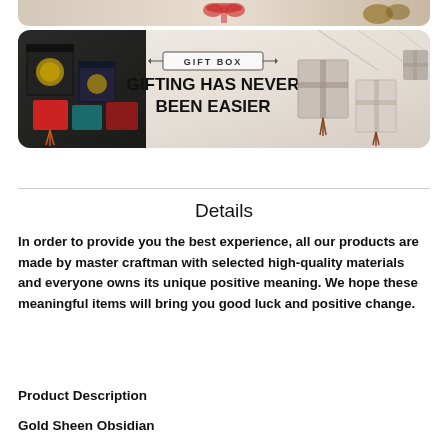[Figure (photo): Top strip of product/gift image partially visible at top of page]
[Figure (photo): Gift box promotional banner showing dark gift boxes on left side, center text reading 'GIFT BOX / GIFTING HAS NEVER BEEN EASIER', and wrapped gift boxes on right side against snowy background]
Details
In order to provide you the best experience, all our products are made by master craftman with selected high-quality materials and everyone owns its unique positive meaning. We hope these meaningful items will bring you good luck and positive change.
Product Description
Gold Sheen Obsidian